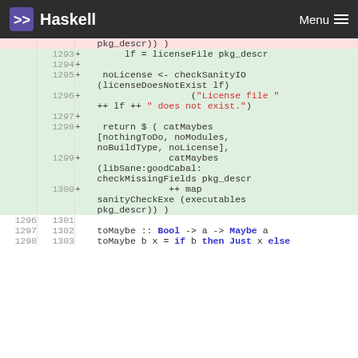Haskell   Menu
[Figure (screenshot): Haskell code diff view showing lines 1293-1303 with added lines (green) and context lines showing Haskell source code for license checking and toMaybe function]